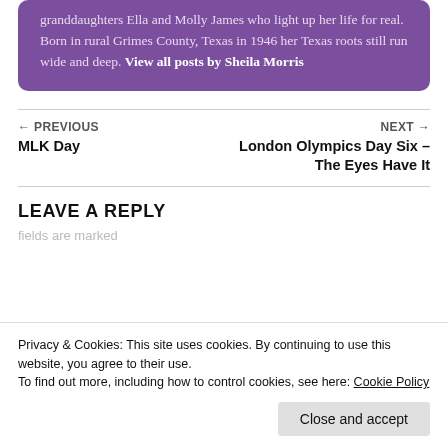granddaughters Ella and Molly James who light up her life for real. Born in rural Grimes County, Texas in 1946 her Texas roots still run wide and deep. View all posts by Sheila Morris
← PREVIOUS
MLK Day
NEXT →
London Olympics Day Six – The Eyes Have It
LEAVE A REPLY
Privacy & Cookies: This site uses cookies. By continuing to use this website, you agree to their use.
To find out more, including how to control cookies, see here: Cookie Policy
fields are marked